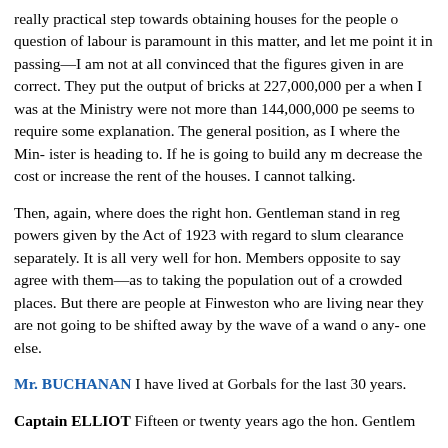really practical step towards obtaining houses for the people o... question of labour is paramount in this matter, and let me point it in passing—I am not at all convinced that the figures given in are correct. They put the output of bricks at 227,000,000 per a when I was at the Ministry were not more than 144,000,000 pe seems to require some explanation. The general position, as I where the Min- ister is heading to. If he is going to build any m decrease the cost or increase the rent of the houses. I cannot talking.
Then, again, where does the right hon. Gentleman stand in reg... powers given by the Act of 1923 with regard to slum clearance separately. It is all very well for hon. Members opposite to say agree with them—as to taking the population out of a crowded places. But there are people at Finweston who are living near they are not going to be shifted away by the wave of a wand o... any- one else.
Mr. BUCHANAN I have lived at Gorbals for the last 30 years.
Captain ELLIOT Fifteen or twenty years ago the hon. Gentlem...